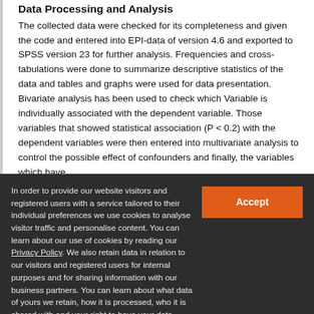Data Processing and Analysis
The collected data were checked for its completeness and given the code and entered into EPI-data of version 4.6 and exported to SPSS version 23 for further analysis. Frequencies and cross-tabulations were done to summarize descriptive statistics of the data and tables and graphs were used for data presentation. Bivariate analysis has been used to check which Variable is individually associated with the dependent variable. Those variables that showed statistical association (P < 0.2) with the dependent variables were then entered into multivariate analysis to control the possible effect of confounders and finally, the variables which have
In order to provide our website visitors and registered users with a service tailored to their individual preferences we use cookies to analyse visitor traffic and personalise content. You can learn about our use of cookies by reading our Privacy Policy. We also retain data in relation to our visitors and registered users for internal purposes and for sharing information with our business partners. You can learn about what data of yours we retain, how it is processed, who it is shared with and your right to have your data deleted by reading our Privacy Policy.
If you agree to our use of cookies and the contents of our Privacy Policy please click 'accept'.